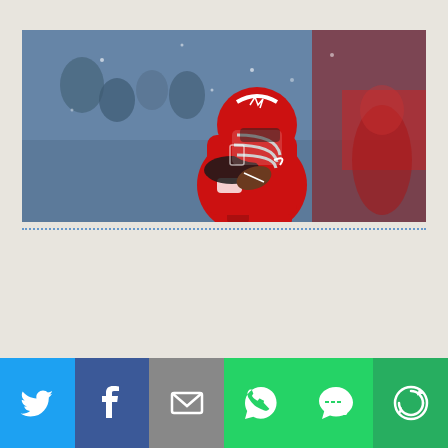[Figure (photo): Arkansas Razorbacks football player in red uniform and white helmet running with the football, crowd and coaches visible in background, rainy/snowy weather conditions]
[Figure (infographic): Social media share bar with Twitter (blue), Facebook (dark blue), Email (gray), WhatsApp (green), SMS (green), and More/Share (green) buttons with white icons]